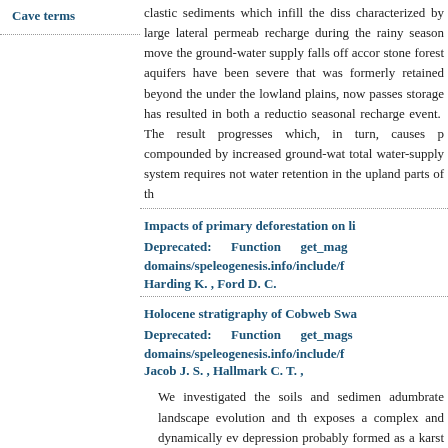Cave terms
clastic sediments which infill the diss... characterized by large lateral permeab... recharge during the rainy season move... the ground-water supply falls off accor... stone forest aquifers have been severe... that was formerly retained beyond the... under the lowland plains, now passes... storage has resulted in both a reductio... seasonal recharge event. The result... progresses which, in turn, causes p... compounded by increased ground-wat... total water-supply system requires no... water retention in the upland parts of th...
Impacts of primary deforestation on li... Deprecated: Function get_mag... domains/speleogenesis.info/include/f... Harding K. , Ford D. C.
Holocene stratigraphy of Cobweb Swa... Deprecated: Function get_mag... domains/speleogenesis.info/include/f... Jacob J. S. , Hallmark C. T. ,
We investigated the soils and sedimen... adumbrate landscape evolution and th... exposes a complex and dynamically ev... depression probably formed as a karst... During the latest Pleistocene, a terrast...